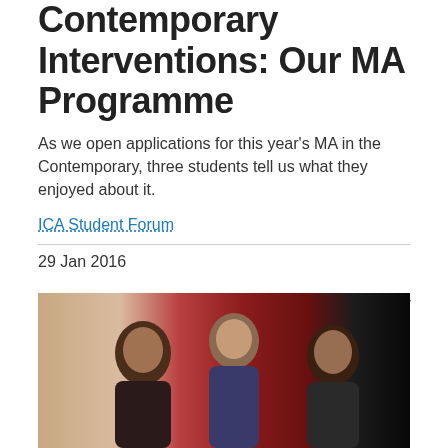Contemporary Interventions: Our MA Programme
As we open applications for this year's MA in the Contemporary, three students tell us what they enjoyed about it.
ICA Student Forum
29 Jan 2016
Share:
[Figure (photo): Three young women posing together in front of a red and dark background, photographed indoors.]